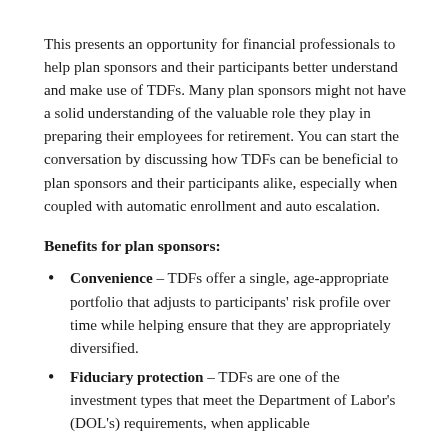This presents an opportunity for financial professionals to help plan sponsors and their participants better understand and make use of TDFs. Many plan sponsors might not have a solid understanding of the valuable role they play in preparing their employees for retirement. You can start the conversation by discussing how TDFs can be beneficial to plan sponsors and their participants alike, especially when coupled with automatic enrollment and auto escalation.
Benefits for plan sponsors:
Convenience – TDFs offer a single, age-appropriate portfolio that adjusts to participants' risk profile over time while helping ensure that they are appropriately diversified.
Fiduciary protection – TDFs are one of the investment types that meet the Department of Labor's (DOL's) requirements, when applicable